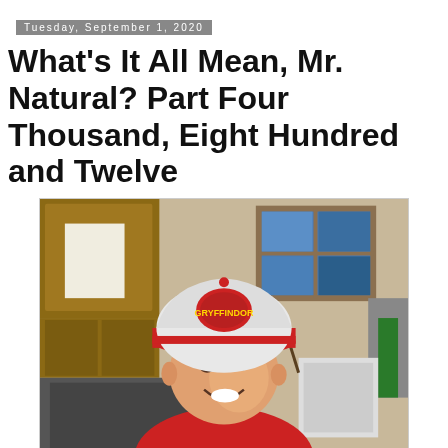Tuesday, September 1, 2020
What's It All Mean, Mr. Natural? Part Four Thousand, Eight Hundred and Twelve
[Figure (photo): A young boy smiling at the camera, wearing a red and white Gryffindor (Harry Potter) snapback cap, in a kitchen setting with wooden cabinets, a window showing blue sky, and various items on the counter.]